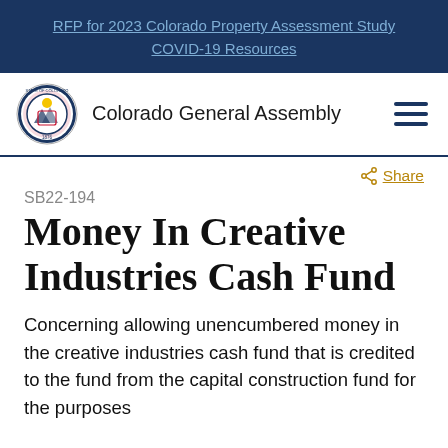RFP for 2023 Colorado Property Assessment Study
COVID-19 Resources
[Figure (logo): Colorado state seal logo next to 'Colorado General Assembly' text header with hamburger menu icon]
Share
SB22-194
Money In Creative Industries Cash Fund
Concerning allowing unencumbered money in the creative industries cash fund that is credited to the fund from the capital construction fund for the purposes